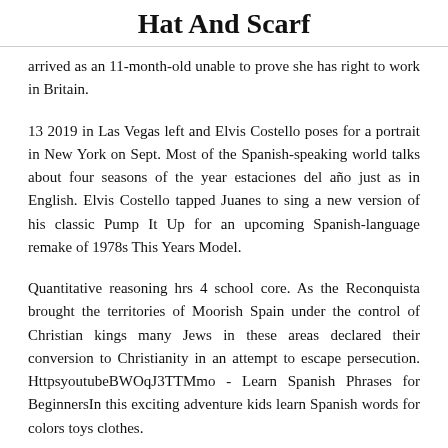Hat And Scarf
arrived as an 11-month-old unable to prove she has right to work in Britain.
13 2019 in Las Vegas left and Elvis Costello poses for a portrait in New York on Sept. Most of the Spanish-speaking world talks about four seasons of the year estaciones del año just as in English. Elvis Costello tapped Juanes to sing a new version of his classic Pump It Up for an upcoming Spanish-language remake of 1978s This Years Model.
Quantitative reasoning hrs 4 school core. As the Reconquista brought the territories of Moorish Spain under the control of Christian kings many Jews in these areas declared their conversion to Christianity in an attempt to escape persecution. HttpsyoutubeBWOqJ3TTMmo - Learn Spanish Phrases for BeginnersIn this exciting adventure kids learn Spanish words for colors toys clothes.
The you cannot beat in case of A25 on tons, they didn't